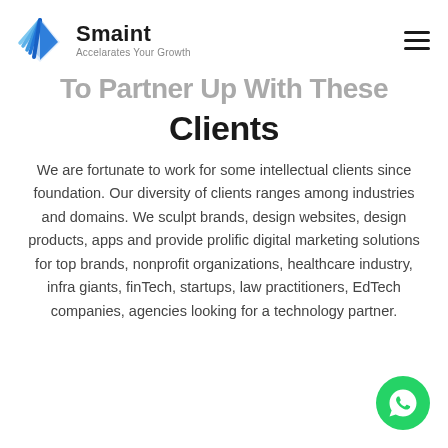Smaint — Accelarates Your Growth
To Partner Up With These Clients
We are fortunate to work for some intellectual clients since foundation. Our diversity of clients ranges among industries and domains. We sculpt brands, design websites, design products, apps and provide prolific digital marketing solutions for top brands, nonprofit organizations, healthcare industry, infra giants, finTech, startups, law practitioners, EdTech companies, agencies looking for a technology partner.
[Figure (logo): WhatsApp contact button (green circle with phone/message icon)]